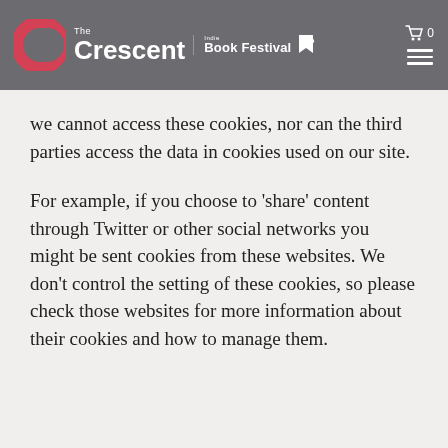The Crescent Book Festival
we cannot access these cookies, nor can the third parties access the data in cookies used on our site.
For example, if you choose to ‘share’ content through Twitter or other social networks you might be sent cookies from these websites. We don't control the setting of these cookies, so please check those websites for more information about their cookies and how to manage them.